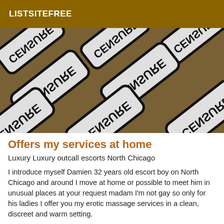LISTSITEFREE
[Figure (photo): Photo showing multiple overlapping censored sticker/stamp tiles with rounded rectangles and text reading 'CENSURE' in bold black letters on white/gray background, arranged diagonally on a brownish background.]
Offers my services at home
Luxury Luxury outcall escorts North Chicago
I introduce myself Damien 32 years old escort boy on North Chicago and around I move at home or possible to meet him in unusual places at your request madam I'm not gay so only for his ladies I offer you my erotic massage services in a clean, discreet and warm setting.